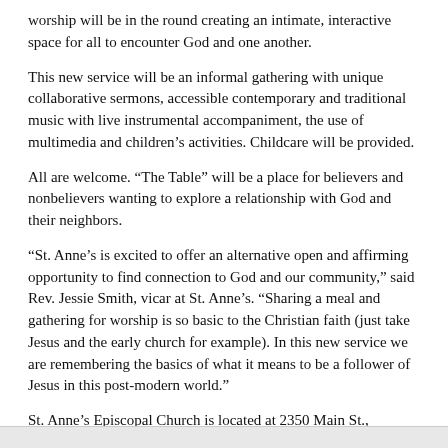worship will be in the round creating an intimate, interactive space for all to encounter God and one another.
This new service will be an informal gathering with unique collaborative sermons, accessible contemporary and traditional music with live instrumental accompaniment, the use of multimedia and children’s activities. Childcare will be provided.
All are welcome. “The Table” will be a place for believers and nonbelievers wanting to explore a relationship with God and their neighbors.
“St. Anne’s is excited to offer an alternative open and affirming opportunity to find connection to God and our community,” said Rev. Jessie Smith, vicar at St. Anne’s. “Sharing a meal and gathering for worship is so basic to the Christian faith (just take Jesus and the early church for example). In this new service we are remembering the basics of what it means to be a follower of Jesus in this post-modern world.”
St. Anne’s Episcopal Church is located at 2350 Main St., Washougal.
For more information, visit www.stanneswa.com, call 835-5301 or contact Smith 328-1267